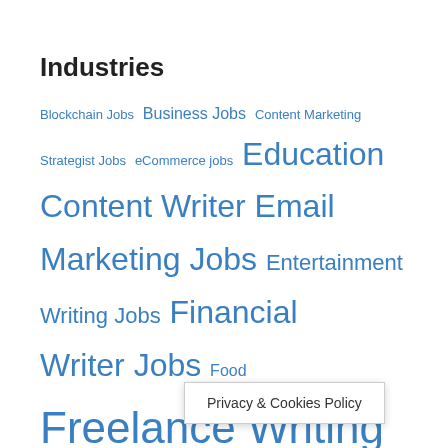Industries
Blockchain Jobs  Business Jobs  Content Marketing Strategist Jobs  eCommerce jobs  Education Content Writer  Email Marketing Jobs  Entertainment Writing Jobs  Financial Writer Jobs  Food  Freelance Writing Jobs  Gaming  Health Writer Jobs  Internship  Lifestyle Writer Jobs  News Writer Jobs  Online B2B Writing Jobs  Online Blogging Jobs  Part time  Remote Writing Jobs  PR  Remote Comm…  …note
Privacy & Cookies Policy